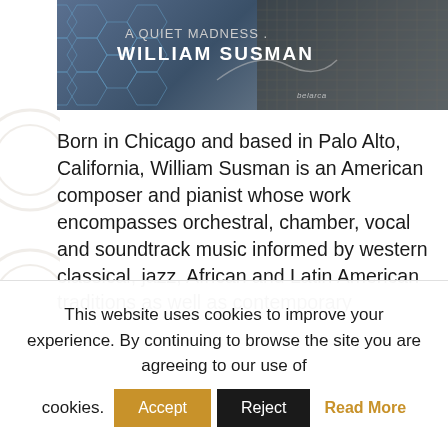[Figure (illustration): Album cover image for 'A Quiet Madness' by William Susman on Belarca label. Dark blue-grey geometric hexagonal pattern background with text overlay showing album title and artist name.]
Born in Chicago and based in Palo Alto, California, William Susman is an American composer and pianist whose work encompasses orchestral, chamber, vocal and soundtrack music informed by western classical, jazz, African and Latin American traditions as well as contemporary
This website uses cookies to improve your experience. By continuing to browse the site you are agreeing to our use of cookies. Accept Reject Read More